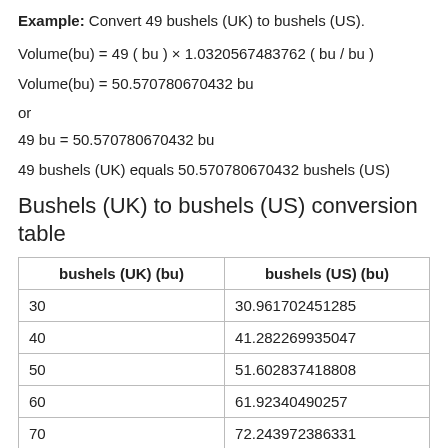Example: Convert 49 bushels (UK) to bushels (US).
or
49 bushels (UK) equals 50.570780670432 bushels (US)
Bushels (UK) to bushels (US) conversion table
| bushels (UK) (bu) | bushels (US) (bu) |
| --- | --- |
| 30 | 30.961702451285 |
| 40 | 41.282269935047 |
| 50 | 51.602837418808 |
| 60 | 61.92340490257 |
| 70 | 72.243972386331 |